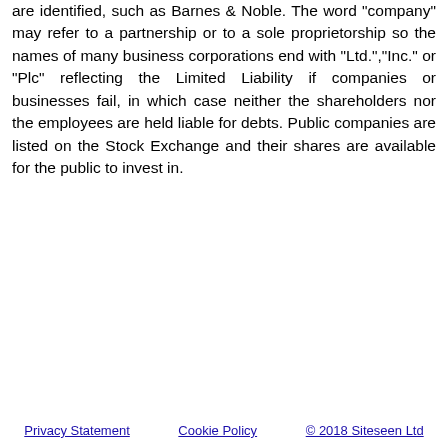are identified, such as Barnes & Noble. The word "company" may refer to a partnership or to a sole proprietorship so the names of many business corporations end with "Ltd.","Inc." or "Plc" reflecting the Limited Liability if companies or businesses fail, in which case neither the shareholders nor the employees are held liable for debts. Public companies are listed on the Stock Exchange and their shares are available for the public to invest in.
Privacy Statement   Cookie Policy   © 2018 Siteseen Ltd